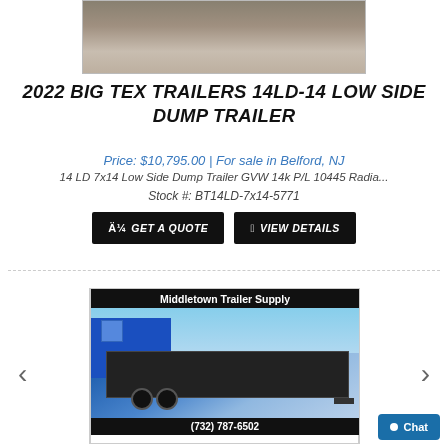[Figure (photo): Partial photo of a trailer/vehicle from above on gravel ground]
2022 BIG TEX TRAILERS 14LD-14 LOW SIDE DUMP TRAILER
Price: $10,795.00 | For sale in Belford, NJ
14 LD 7x14 Low Side Dump Trailer GVW 14k P/L 10445 Radia...
Stock #: BT14LD-7x14-5771
GET A QUOTE | VIEW DETAILS
[Figure (photo): Photo of a black dump trailer (Big Tex) at Middletown Trailer Supply dealership with phone number (732) 787-6502]